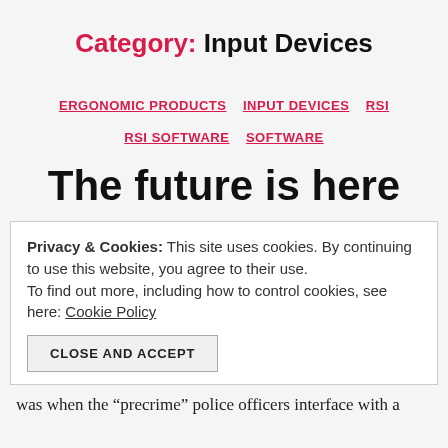Category: Input Devices
ERGONOMIC PRODUCTS
INPUT DEVICES
RSI
RSI SOFTWARE
SOFTWARE
The future is here
Privacy & Cookies: This site uses cookies. By continuing to use this website, you agree to their use.
To find out more, including how to control cookies, see here: Cookie Policy
CLOSE AND ACCEPT
was when the “precrime” police officers interface with a